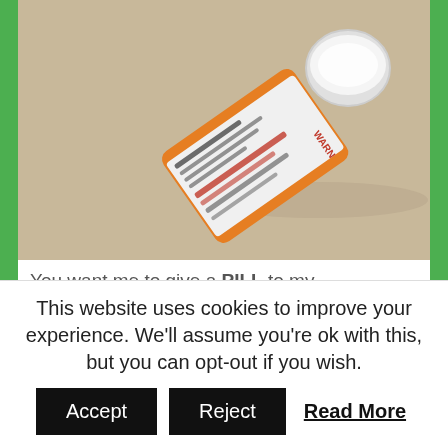[Figure (photo): A prescription pill bottle lying on its side on a beige surface, cap off beside it, label visible with warning text.]
You want me to give a PILL to my NEWBORN?! I remember asking my son's pediatric endocrinologist that question. As if it's not enough to have to deal with giving birth,
This website uses cookies to improve your experience. We'll assume you're ok with this, but you can opt-out if you wish. Accept Reject Read More